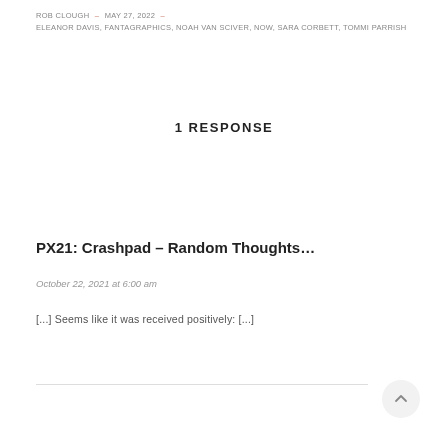ROB CLOUGH – MAY 27, 2022 – ELEANOR DAVIS, FANTAGRAPHICS, NOAH VAN SCIVER, NOW, SARA CORBETT, TOMMI PARRISH
1 RESPONSE
PX21: Crashpad – Random Thoughts…
October 22, 2021 at 6:00 am
[...] Seems like it was received positively: [...]